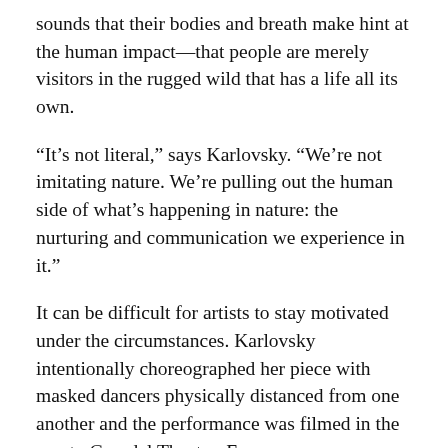sounds that their bodies and breath make hint at the human impact—that people are merely visitors in the rugged wild that has a life all its own.
“It’s not literal,” says Karlovsky. “We’re not imitating nature. We’re pulling out the human side of what’s happening in nature: the nurturing and communication we experience in it.”
It can be difficult for artists to stay motivated under the circumstances. Karlovsky intentionally choreographed her piece with masked dancers physically distanced from one another and the performance was filmed in the empty Grandel Theatre. Everyone agrees, however, that the process of making Interwoven has kept them motivated during the pandemic.